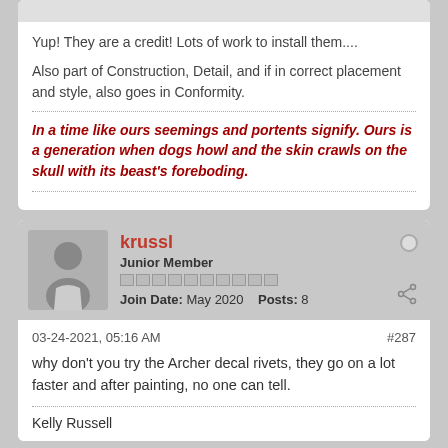Yup! They are a credit! Lots of work to install them....
Also part of Construction, Detail, and if in correct placement and style, also goes in Conformity.
In a time like ours seemings and portents signify. Ours is a generation when dogs howl and the skin crawls on the skull with its beast's foreboding.
krussl
Junior Member
Join Date: May 2020    Posts: 8
03-24-2021, 05:16 AM
#287
why don't you try the Archer decal rivets, they go on a lot faster and after painting, no one can tell.
Kelly Russell